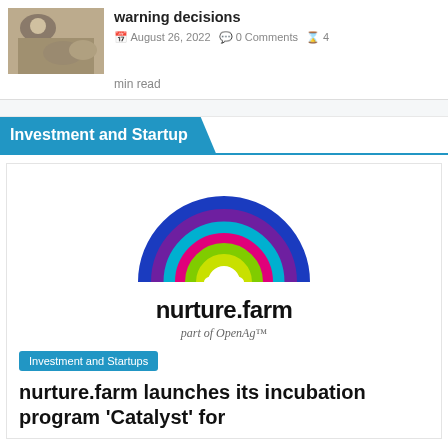[Figure (photo): Small thumbnail photo of a person with sheep or livestock in a field]
warning decisions
August 26, 2022  0 Comments  4 min read
Investment and Startup
[Figure (logo): nurture.farm logo with rainbow arc graphic and text 'nurture.farm part of OpenAg']
Investment and Startups
nurture.farm launches its incubation program 'Catalyst' for